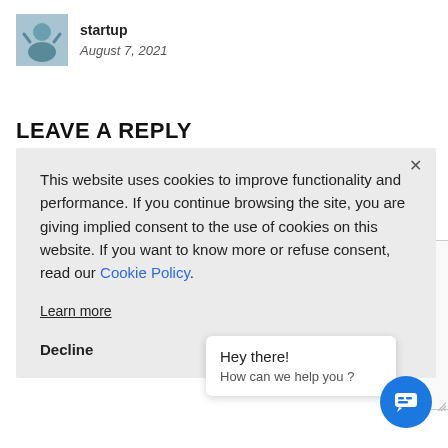[Figure (photo): Small thumbnail image showing a person doing yoga or stretching pose, used as avatar/author image]
startup
August 7, 2021
LEAVE A REPLY
This website uses cookies to improve functionality and performance. If you continue browsing the site, you are giving implied consent to the use of cookies on this website. If you want to know more or refuse consent, read our Cookie Policy.
Learn more
Decline
Hey there!
How can we help you ?